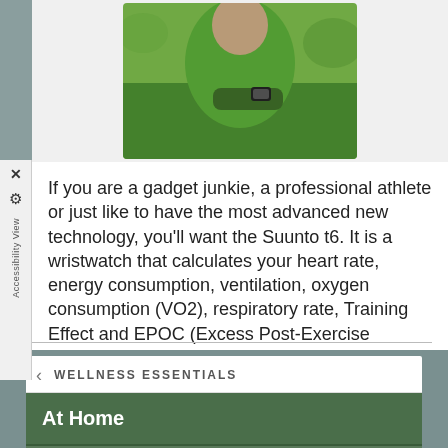[Figure (photo): Person in bright green jacket looking at a smartwatch/wristwatch on their wrist, outdoors]
If you are a gadget junkie, a professional athlete or just like to have the most advanced new technology, you'll want the Suunto t6. It is a wristwatch that calculates your heart rate, energy consumption, ventilation, oxygen consumption (VO2), respiratory rate, Training Effect and EPOC (Excess Post-Exercise
Read more
WELLNESS ESSENTIALS
At Home
At Work